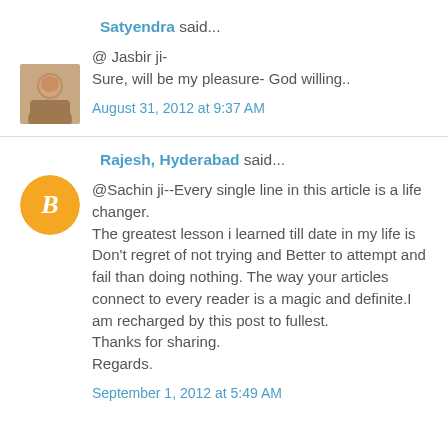Satyendra said...
@ Jasbir ji-
Sure, will be my pleasure- God willing..
August 31, 2012 at 9:37 AM
Rajesh, Hyderabad said...
@Sachin ji--Every single line in this article is a life changer.
The greatest lesson i learned till date in my life is Don't regret of not trying and Better to attempt and fail than doing nothing. The way your articles connect to every reader is a magic and definite.I am recharged by this post to fullest.
Thanks for sharing.
Regards.
September 1, 2012 at 5:49 AM